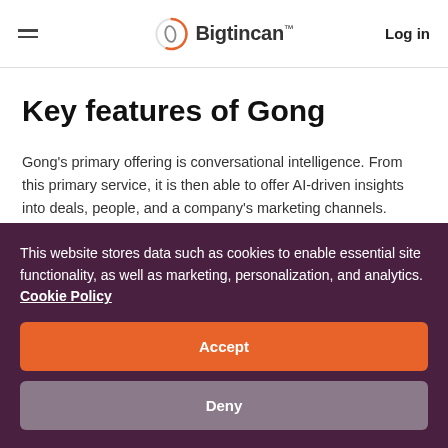Bigtincan — Log in
Key features of Gong
Gong's primary offering is conversational intelligence. From this primary service, it is then able to offer AI-driven insights into deals, people, and a company's marketing channels.
Gong records and analyzes video calls, phone calls
This website stores data such as cookies to enable essential site functionality, as well as marketing, personalization, and analytics. Cookie Policy
Accept
Deny